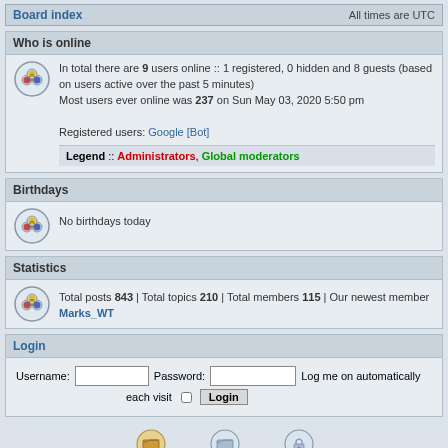Board index    All times are UTC
Who is online
In total there are 9 users online :: 1 registered, 0 hidden and 8 guests (based on users active over the past 5 minutes)
Most users ever online was 237 on Sun May 03, 2020 5:50 pm

Registered users: Google [Bot]

Legend :: Administrators, Global moderators
Birthdays
No birthdays today
Statistics
Total posts 843 | Total topics 210 | Total members 115 | Our newest member Marks_WT
Login
Username:   Password:   Log me on automatically each visit  Login
Unread posts   No unread posts   Forum locked
Powered by phpBB® Forum Software © phpBB Group